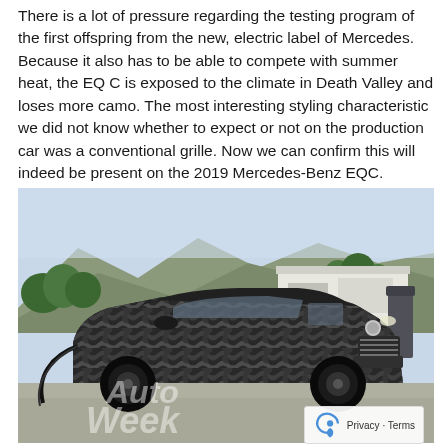There is a lot of pressure regarding the testing program of the first offspring from the new, electric label of Mercedes. Because it also has to be able to compete with summer heat, the EQ C is exposed to the climate in Death Valley and loses more camo. The most interesting styling characteristic we did not know whether to expect or not on the production car was a conventional grille. Now we can confirm this will indeed be present on the 2019 Mercedes-Benz EQC.
[Figure (photo): A camouflaged 2019 Mercedes-Benz EQC prototype SUV photographed outdoors in Death Valley. The vehicle is wrapped in black-and-white camouflage pattern, with mountains and trees visible in the background. A charging cable is connected to the vehicle. The AutoWeek watermark is visible on the lower portion of the image with the URL www.autoweek.nl.]